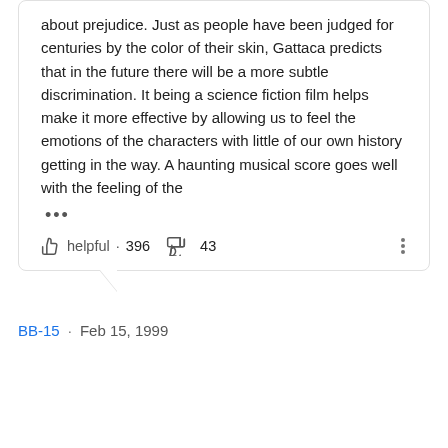about prejudice. Just as people have been judged for centuries by the color of their skin, Gattaca predicts that in the future there will be a more subtle discrimination. It being a science fiction film helps make it more effective by allowing us to feel the emotions of the characters with little of our own history getting in the way. A haunting musical score goes well with the feeling of the
helpful · 396   43
BB-15 · Feb 15, 1999